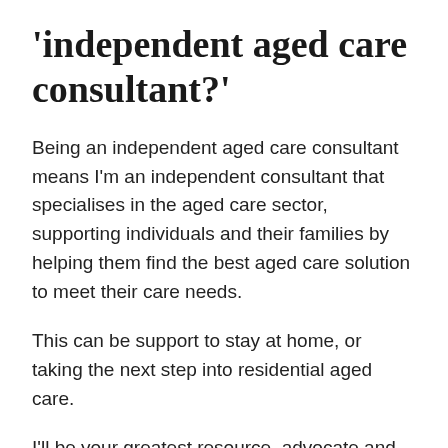'independent aged care consultant?'
Being an independent aged care consultant means I'm an independent consultant that specialises in the aged care sector, supporting individuals and their families by helping them find the best aged care solution to meet their care needs.
This can be support to stay at home, or taking the next step into residential aged care.
I'll be your greatest resource, advocate and support! I will guide your family to make sense of the system, save you thousands of dollars, be your sounding board, save you time, energy and stress